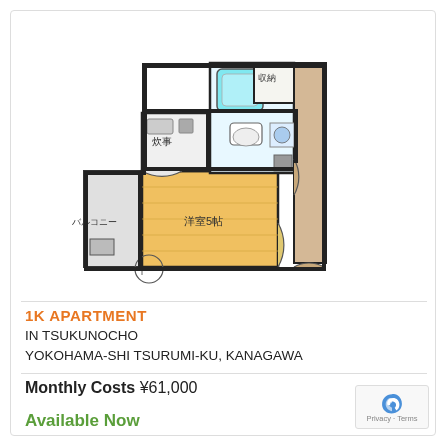[Figure (engineering-diagram): Japanese apartment floor plan showing a 1K layout with a main western-style room (洋室5帖), kitchen/kitchenette area (炊事), bathroom with bathtub (cyan), toilet, storage (収納), and a balcony (バルコニー). Floor plan drawn in black outlines with yellow/tan wood-floor fill for the main room.]
1K APARTMENT
IN TSUKUNOCHO
YOKOHAMA-SHI TSURUMI-KU, KANAGAWA
Monthly Costs ¥61,000
Available Now